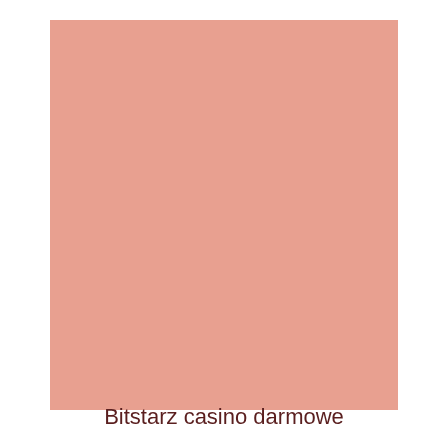[Figure (illustration): Large solid pink/salmon colored rectangular block filling most of the page area]
Bitstarz casino darmowe